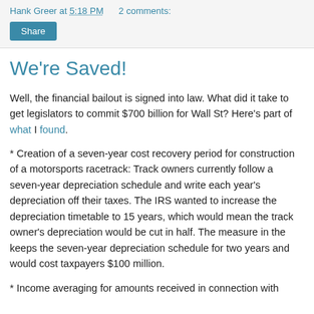Hank Greer at 5:18 PM   2 comments:
We're Saved!
Well, the financial bailout is signed into law. What did it take to get legislators to commit $700 billion for Wall St? Here's part of what I found.
* Creation of a seven-year cost recovery period for construction of a motorsports racetrack: Track owners currently follow a seven-year depreciation schedule and write each year's depreciation off their taxes. The IRS wanted to increase the depreciation timetable to 15 years, which would mean the track owner's depreciation would be cut in half. The measure in the keeps the seven-year depreciation schedule for two years and would cost taxpayers $100 million.
* Income averaging for amounts received in connection with